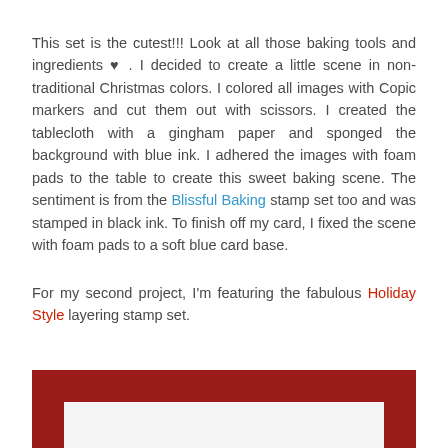This set is the cutest!!! Look at all those baking tools and ingredients ♥ . I decided to create a little scene in non-traditional Christmas colors. I colored all images with Copic markers and cut them out with scissors. I created the tablecloth with a gingham paper and sponged the background with blue ink. I adhered the images with foam pads to the table to create this sweet baking scene. The sentiment is from the Blissful Baking stamp set too and was stamped in black ink. To finish off my card, I fixed the scene with foam pads to a soft blue card base.
For my second project, I'm featuring the fabulous Holiday Style layering stamp set.
[Figure (photo): Dark red/crimson card base with white inner panel visible at bottom of page, partially cropped]